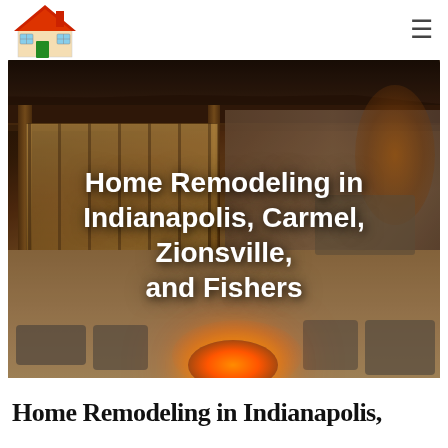[Figure (logo): Colorful cartoon house logo with red roof, orange walls, green door, blue windows]
[Figure (photo): Outdoor patio scene with pergola, fire pit, patio furniture, warm evening lighting, large glass doors on house]
Home Remodeling in Indianapolis, Carmel, Zionsville, and Fishers
Home Remodeling in Indianapolis,